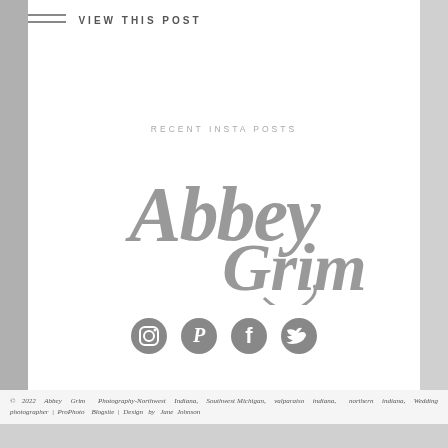VIEW THIS POST
RECENT INSTA POSTS
[Figure (logo): Abbey Grim cursive script logo in gray]
[Figure (infographic): Four social media icons: Instagram, Pinterest, Facebook, Twitter in gray circles]
© 2022 Abbey Grim Photography-Northwest Indiana, Southwest Michigan, valparaiso indiana, northern indiana, Wedding photographer | ProPhoto Blogsite | Design by Jane Johnson